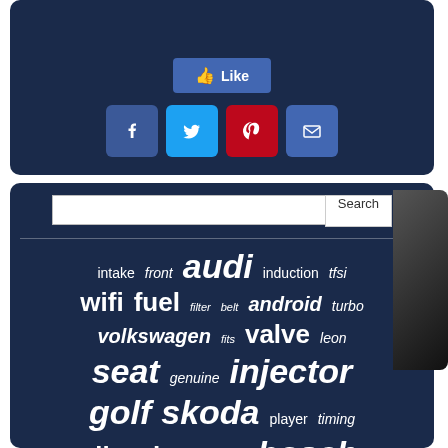[Figure (screenshot): Social sharing panel with a Facebook Like button and social media icons (Facebook, Twitter, Pinterest, Email) on a dark navy background]
[Figure (screenshot): Search bar and tag cloud with automotive keywords (audi, volkswagen, seat, skoda, golf, injector, bosch, intake, front, induction, tfsi, wifi, fuel, filter, belt, android, turbo, fits, valve, leon, genuine, player, timing, diesel, rear, engine) on dark navy background]